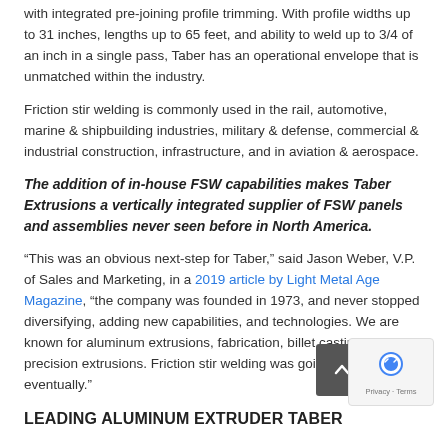with integrated pre-joining profile trimming. With profile widths up to 31 inches, lengths up to 65 feet, and ability to weld up to 3/4 of an inch in a single pass, Taber has an operational envelope that is unmatched within the industry.
Friction stir welding is commonly used in the rail, automotive, marine & shipbuilding industries, military & defense, commercial & industrial construction, infrastructure, and in aviation & aerospace.
The addition of in-house FSW capabilities makes Taber Extrusions a vertically integrated supplier of FSW panels and assemblies never seen before in North America.
“This was an obvious next-step for Taber,” said Jason Weber, V.P. of Sales and Marketing, in a 2019 article by Light Metal Age Magazine, “the company was founded in 1973, and never stopped diversifying, adding new capabilities, and technologies. We are known for aluminum extrusions, fabrication, billet casting, ultra-precision extrusions. Friction stir welding was going to happen eventually.”
LEADING ALUMINUM EXTRUDER TABER